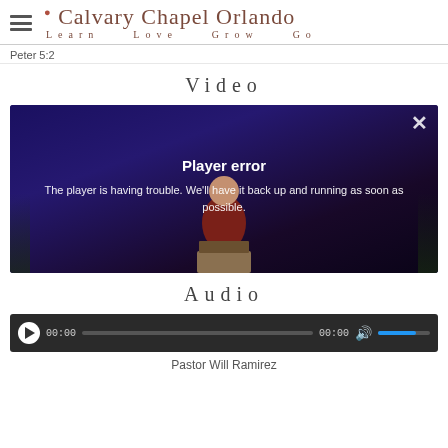Calvary Chapel Orlando — Learn Love Grow Go
Peter 5:2
Video
[Figure (screenshot): Video player showing a person at a podium with a 'Player error' overlay message reading: 'Player error — The player is having trouble. We'll have it back up and running as soon as possible.' A close (X) button is in the top right corner.]
Audio
[Figure (screenshot): Audio player bar with play button, time display showing 00:00, progress bar, duration 00:00, speaker icon, and blue volume bar.]
Pastor Will Ramirez